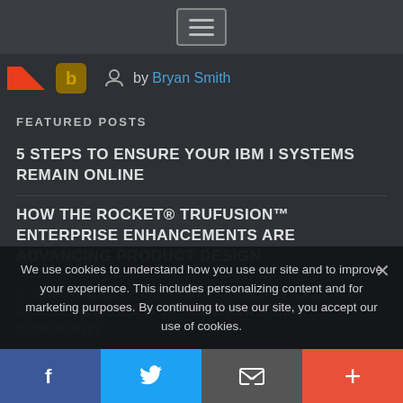Navigation bar with hamburger menu
by Bryan Smith
FEATURED POSTS
5 STEPS TO ENSURE YOUR IBM I SYSTEMS REMAIN ONLINE
HOW THE ROCKET® TRUFUSION™ ENTERPRISE ENHANCEMENTS ARE ADVANCING PRODUCT DESIGN
JOIN ROCKET CEO ANDY YOUNIS ON 11/19 TO DISCUSS DIVERSITY IN THE MAINFRAME COMMUNITY
We use cookies to understand how you use our site and to improve your experience. This includes personalizing content and for marketing purposes. By continuing to use our site, you accept our use of cookies.
Social share bar: Facebook, Twitter, Email, Plus